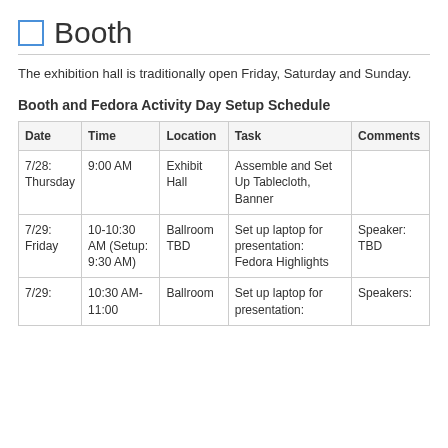Booth
The exhibition hall is traditionally open Friday, Saturday and Sunday.
Booth and Fedora Activity Day Setup Schedule
| Date | Time | Location | Task | Comments |
| --- | --- | --- | --- | --- |
| 7/28: Thursday | 9:00 AM | Exhibit Hall | Assemble and Set Up Tablecloth, Banner |  |
| 7/29: Friday | 10-10:30 AM (Setup: 9:30 AM) | Ballroom TBD | Set up laptop for presentation: Fedora Highlights | Speaker: TBD |
| 7/29: | 10:30 AM-11:00 | Ballroom | Set up laptop for presentation: | Speakers: |